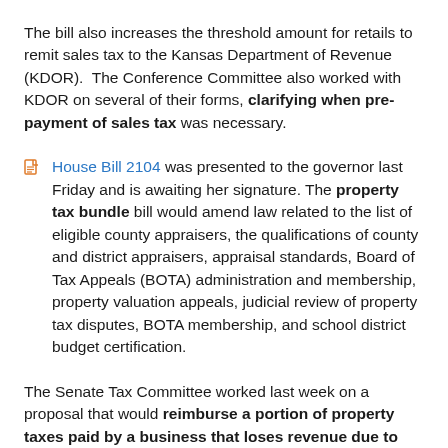The bill also increases the threshold amount for retails to remit sales tax to the Kansas Department of Revenue (KDOR). The Conference Committee also worked with KDOR on several of their forms, clarifying when pre-payment of sales tax was necessary.
House Bill 2104 was presented to the governor last Friday and is awaiting her signature. The property tax bundle bill would amend law related to the list of eligible county appraisers, the qualifications of county and district appraisers, appraisal standards, Board of Tax Appeals (BOTA) administration and membership, property valuation appeals, judicial review of property tax disputes, BOTA membership, and school district budget certification.
The Senate Tax Committee worked last week on a proposal that would reimburse a portion of property taxes paid by a business that loses revenue due to